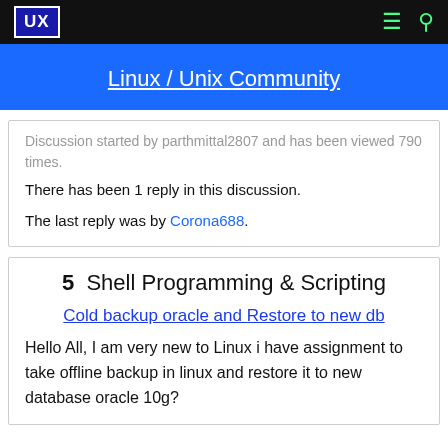UX — Linux / Unix Community
Linux / Unix Community
Discussion started by parthmittal2807 and has been viewed 790 times.
There has been 1 reply in this discussion.
The last reply was by Corona688.
5  Shell Programming & Scripting
Cold backup oracle and Restore to new db
Hello All, I am very new to Linux i have assignment to take offline backup in linux and restore it to new database oracle 10g? Help me out any script of it and steps i will be